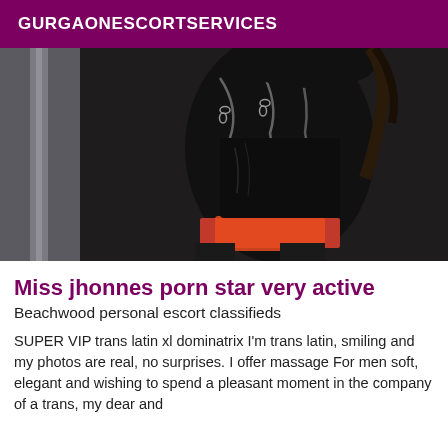GURGAONESCORTSERVICES
[Figure (photo): Person wearing black leather outfit with chains, dark background]
Miss jhonnes porn star very active
Beachwood personal escort classifieds
SUPER VIP trans latin xl dominatrix I'm trans latin, smiling and my photos are real, no surprises. I offer massage For men soft, elegant and wishing to spend a pleasant moment in the company of a trans, my dear and